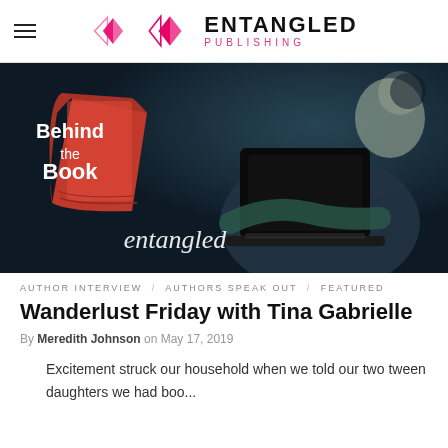Entangled Publishing
[Figure (photo): Behind the Book banner image with a person holding a laptop, overlaid with red book graphic reading 'Behind the Book' and 'entangled' logo text on dark blue background]
AUTHOR INTERVIEW   AUTHORS SPEAK OUT   FEATURED
Wanderlust Friday with Tina Gabrielle
By Meredith Johnson on May 17, 2019
Excitement struck our household when we told our two tween daughters we had boo...